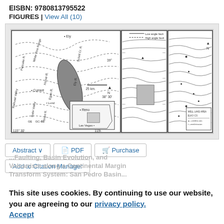EISBN: 9780813795522
FIGURES | View All (10)
[Figure (map): Three geological/geographic maps shown side by side. Left map shows Nevada region with coordinates 115°30' and 38°30', labeled locations including Ely, Lund, Currant, Reno, Las Vegas, and geographic features with dashed contour lines and a shaded region. Middle and right maps show additional regional geological maps with contour lines, fault lines, and shaded areas.]
Abstract ∨
PDF
Purchase
Add to Citation Manager
This site uses cookies. By continuing to use our website, you are agreeing to our privacy policy. Accept